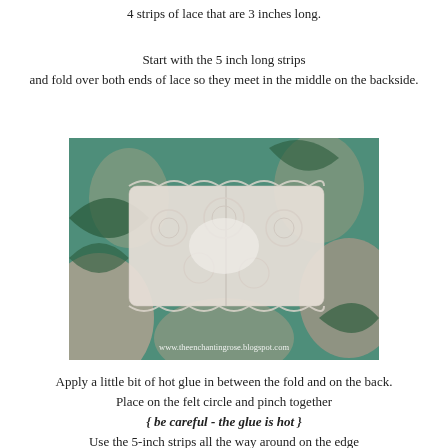4 strips of lace that are 3 inches long.
Start with the 5 inch long strips and fold over both ends of lace so they meet in the middle on the backside.
[Figure (photo): Photo of white lace folded with ends meeting in the middle, shown against a teal/green floral patterned background. Watermark reads www.theenchantingrose.blogspot.com]
Apply a little bit of hot glue in between the fold and on the back. Place on the felt circle and pinch together { be careful - the glue is hot } Use the 5-inch strips all the way around on the edge